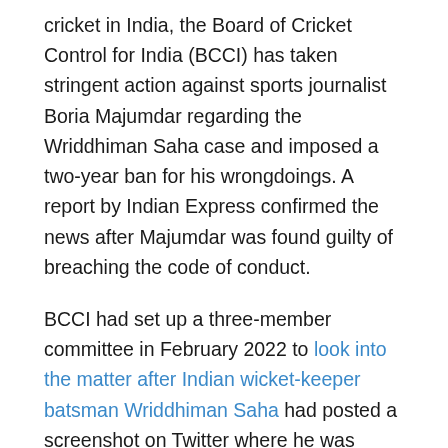cricket in India, the Board of Cricket Control for India (BCCI) has taken stringent action against sports journalist Boria Majumdar regarding the Wriddhiman Saha case and imposed a two-year ban for his wrongdoings. A report by Indian Express confirmed the news after Majumdar was found guilty of breaching the code of conduct.
BCCI had set up a three-member committee in February 2022 to look into the matter after Indian wicket-keeper batsman Wriddhiman Saha had posted a screenshot on Twitter where he was allegedly threatened by a reporter. The committee was composed of Vice President Rajiv Shukla, Treasurer Arun Singh Dhumal, and Council Member Prabhtej Singh Bhatia.
The committee after a thorough investigation came to a conclusion on banning Boria Majumdar for two years.